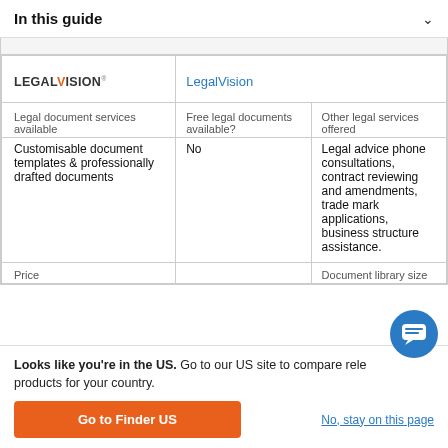In this guide
| Legal document services available | Free legal documents available? | Other legal services offered |
| --- | --- | --- |
| Customisable document templates & professionally drafted documents | No | Legal advice phone consultations, contract reviewing and amendments, trade mark applications, business structure assistance. |
| Price |  | Document library size |
Looks like you're in the US. Go to our US site to compare rele products for your country.
Go to Finder US
No, stay on this page